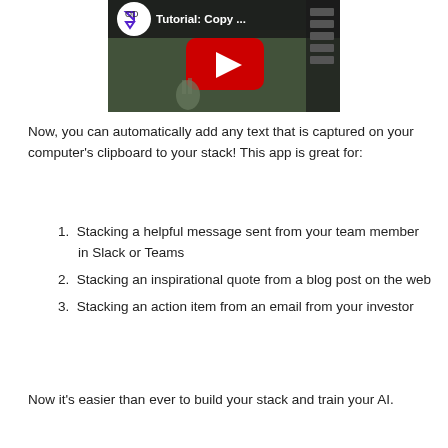[Figure (screenshot): YouTube video thumbnail showing 'Tutorial: Copy ...' with a play button and a soccer/football scene. A logo with geometric shapes appears in the top-left corner of the thumbnail.]
Now, you can automatically add any text that is captured on your computer's clipboard to your stack! This app is great for:
Stacking a helpful message sent from your team member in Slack or Teams
Stacking an inspirational quote from a blog post on the web
Stacking an action item from an email from your investor
Now it's easier than ever to build your stack and train your AI.